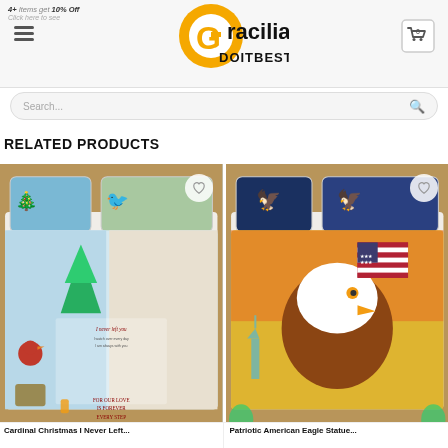4+ Items get 10% Off
[Figure (logo): Gracilia DOITBEST logo with orange circle and black text]
[Figure (illustration): Shopping cart icon with 0 badge]
Search...
RELATED PRODUCTS
[Figure (photo): Cardinal Christmas I Never Left bedding set — bed with pillows featuring cardinal birds and Christmas tree design]
[Figure (photo): Patriotic American Eagle Statue of Liberty bedding set — bed with pillows featuring bald eagle and American flag design]
Cardinal Christmas I Never Left...
Patriotic American Eagle Statue...